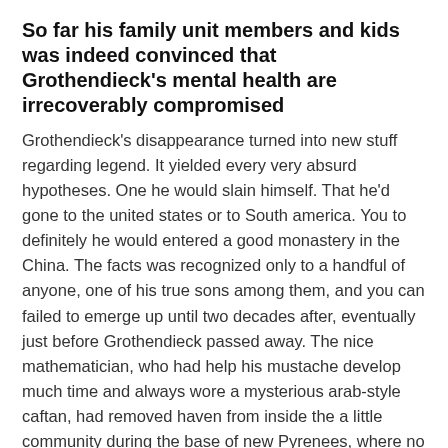So far his family unit members and kids was indeed convinced that Grothendieck's mental health are irrecoverably compromised
Grothendieck's disappearance turned into new stuff regarding legend. It yielded every very absurd hypotheses. One he would slain himself. That he'd gone to the united states or to South america. You to definitely he would entered a good monastery in the China. The facts was recognized only to a handful of anyone, one of his true sons among them, and you can failed to emerge up until two decades after, eventually just before Grothendieck passed away. The nice mathematician, who had help his mustache develop much time and always wore a mysterious arab-style caftan, had removed haven from inside the a little community during the base of new Pyrenees, where no one understood him. He resided around getting 23 decades, during the a beneficial shabby quit farm, altogether isolation. This new village's 200 people, which failed to know exactly who he had been